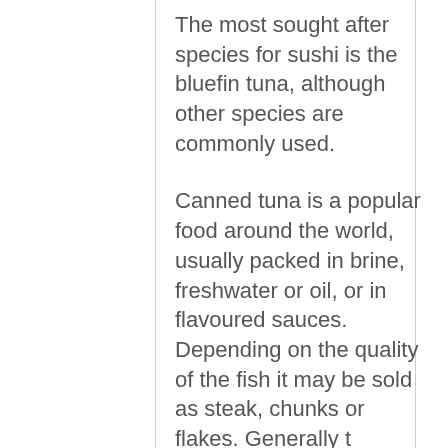The most sought after species for sushi is the bluefin tuna, although other species are commonly used.
Canned tuna is a popular food around the world, usually packed in brine, freshwater or oil, or in flavoured sauces. Depending on the quality of the fish it may be sold as steak, chunks or flakes. Generally t…